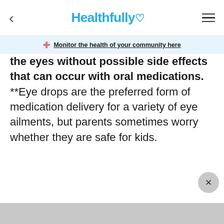Healthfully
Monitor the health of your community here
the eyes without possible side effects that can occur with oral medications. **Eye drops are the preferred form of medication delivery for a variety of eye ailments, but parents sometimes worry whether they are safe for kids.